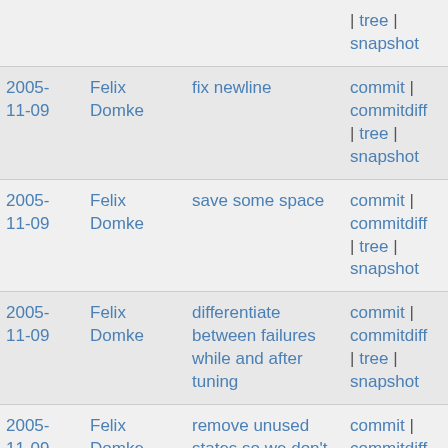| date | author | message | links |
| --- | --- | --- | --- |
|  |  |  | | tree | snapshot |
| 2005-11-09 | Felix Domke | fix newline | commit | commitdiff | tree | snapshot |
| 2005-11-09 | Felix Domke | save some space | commit | commitdiff | tree | snapshot |
| 2005-11-09 | Felix Domke | differentiate between failures while and after tuning | commit | commitdiff | tree | snapshot |
| 2005-11-09 | Felix Domke | remove unused states so we don't need to track changes... | commit | commitdiff | tree | snapshot |